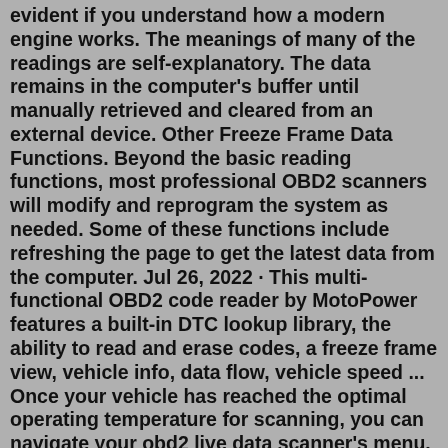evident if you understand how a modern engine works. The meanings of many of the readings are self-explanatory. The data remains in the computer's buffer until manually retrieved and cleared from an external device. Other Freeze Frame Data Functions. Beyond the basic reading functions, most professional OBD2 scanners will modify and reprogram the system as needed. Some of these functions include refreshing the page to get the latest data from the computer. Jul 26, 2022 · This multi-functional OBD2 code reader by MotoPower features a built-in DTC lookup library, the ability to read and erase codes, a freeze frame view, vehicle info, data flow, vehicle speed ... Once your vehicle has reached the optimal operating temperature for scanning, you can navigate your obd2 live data scanner's menu. On the front menu, there will typically be a "live data" option. In this case, you'll want to select "live data."Step 1: Plug the OBD scanner into the OBD port Your OBD scanner has a 16-pin trapezoidal connector that fits